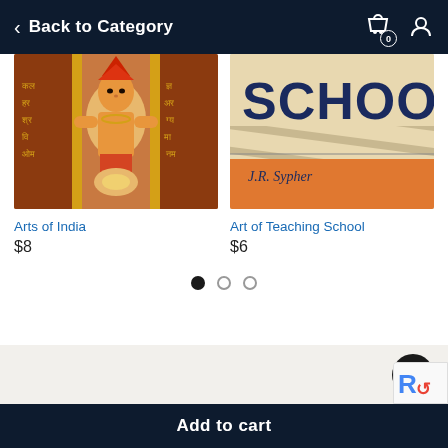Back to Category
[Figure (photo): Book cover for Arts of India showing colorful Indian temple art with deities and Sanskrit text]
Arts of India
$8
[Figure (photo): Book cover for Art of Teaching School with the word SCHOOL in large letters and author J.R. Sypher]
Art of Teaching School
$6
Add to cart